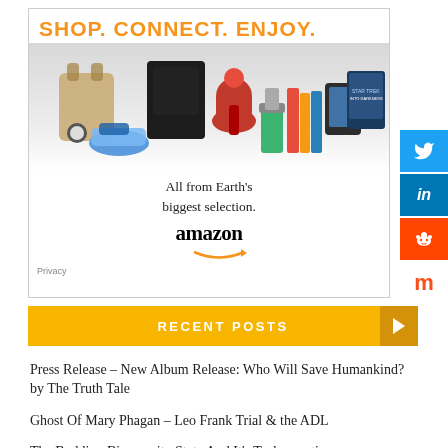[Figure (illustration): Amazon advertisement: 'SHOP. CONNECT. ENJOY.' headline in orange, product images (bag, PS4, KitchenAid mixer, blender, books, Kindle, Star Trek Blu-ray), tagline 'All from Earth's biggest selection.' with Amazon logo and smile arrow. Privacy link at bottom left.]
[Figure (illustration): Social media share buttons sidebar: Twitter (blue bird), LinkedIn (in), Reddit (alien), Mix (m) buttons stacked vertically on the right edge.]
RECENT POSTS
Press Release – New Album Release: Who Will Save Humankind? by The Truth Tale
Ghost Of Mary Phagan – Leo Frank Trial & the ADL
The Budding Biosecurity State And It's Technocratic